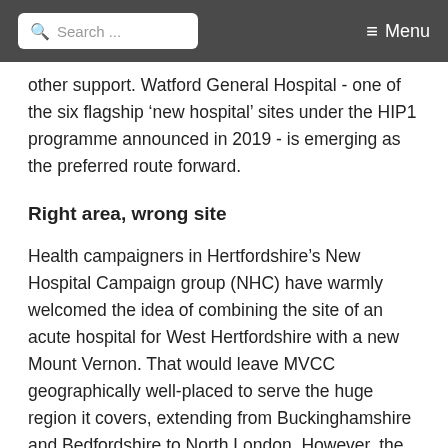Search ... Menu
other support. Watford General Hospital - one of the six flagship ‘new hospital’ sites under the HIP1 programme announced in 2019 - is emerging as the preferred route forward.
Right area, wrong site
Health campaigners in Hertfordshire’s New Hospital Campaign group (NHC) have warmly welcomed the idea of combining the site of an acute hospital for West Hertfordshire with a new Mount Vernon. That would leave MVCC geographically well-placed to serve the huge region it covers, extending from Buckinghamshire and Bedfordshire to North London. However, the NHC believe that a